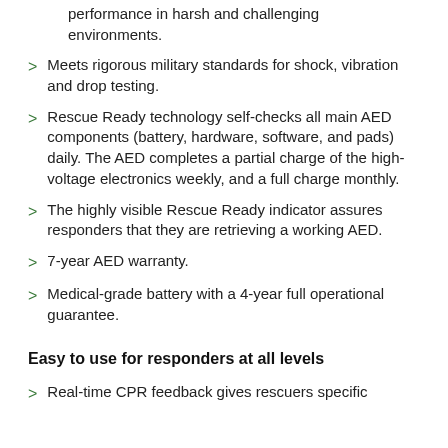performance in harsh and challenging environments.
Meets rigorous military standards for shock, vibration and drop testing.
Rescue Ready technology self-checks all main AED components (battery, hardware, software, and pads) daily. The AED completes a partial charge of the high-voltage electronics weekly, and a full charge monthly.
The highly visible Rescue Ready indicator assures responders that they are retrieving a working AED.
7-year AED warranty.
Medical-grade battery with a 4-year full operational guarantee.
Easy to use for responders at all levels
Real-time CPR feedback gives rescuers specific guidance on compression depth and rate.